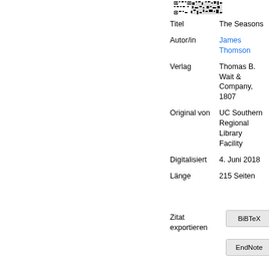[Figure (other): QR code at top right of page]
| Titel | The Seasons |
| Autor/in | James Thomson |
| Verlag | Thomas B. Wait & Company, 1807 |
| Original von | UC Southern Regional Library Facility |
| Digitalisiert | 4. Juni 2018 |
| Länge | 215 Seiten |
Zitat exportieren
BiBTeX
EndNote